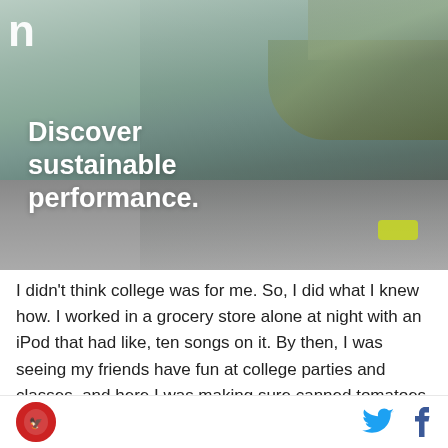[Figure (photo): Advertisement banner showing a runner in athletic wear on a road with text 'Discover sustainable performance.' and the 'On' logo in the top left corner.]
I didn't think college was for me. So, I did what I knew how. I worked in a grocery store alone at night with an iPod that had like, ten songs on it. By then, I was seeing my friends have fun at college parties and classes, and here I was making sure canned tomatoes were all facing the right way and freezing my rear-end
Social icons: Twitter and Facebook